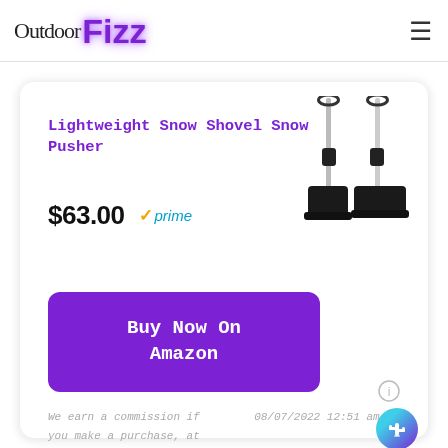OutdoorFizz
Lightweight Snow Shovel Snow Pusher
$63.00 ✓prime
[Figure (photo): Two snow shovels/pushers standing upright with black blades and metal handles with D-grips]
[Figure (other): Buy Now On Amazon purple button]
We earn a commission if you make a purchase, at no additional cost to you.
08/07/2022 12:51 am GMT